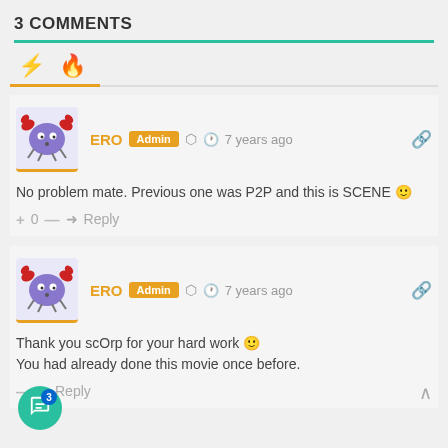3 COMMENTS
ERO Admin — 7 years ago (Comment 1)
No problem mate. Previous one was P2P and this is SCENE 🙂
+ 0 — → Reply
ERO Admin — 7 years ago (Comment 2)
Thank you scOrp for your hard work 🙂
You had already done this movie once before.
+ — → Reply